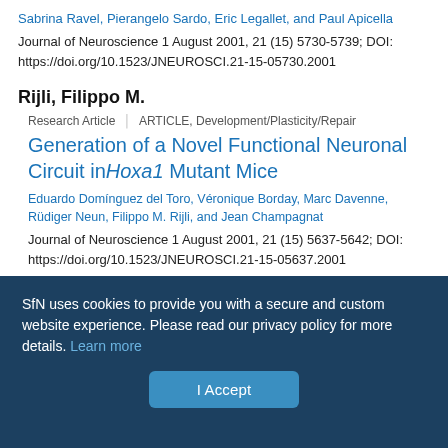Sabrina Ravel, Pierangelo Sardo, Eric Legallet, and Paul Apicella
Journal of Neuroscience 1 August 2001, 21 (15) 5730-5739; DOI: https://doi.org/10.1523/JNEUROSCI.21-15-05730.2001
Rijli, Filippo M.
Research Article | ARTICLE, Development/Plasticity/Repair
Generation of a Novel Functional Neuronal Circuit in Hoxa1 Mutant Mice
Eduardo Domínguez del Toro, Véronique Borday, Marc Davenne, Rüdiger Neun, Filippo M. Rijli, and Jean Champagnat
Journal of Neuroscience 1 August 2001, 21 (15) 5637-5642; DOI: https://doi.org/10.1523/JNEUROSCI.21-15-05637.2001
Robert, Antoine
SfN uses cookies to provide you with a secure and custom website experience. Please read our privacy policy for more details. Learn more
I Accept